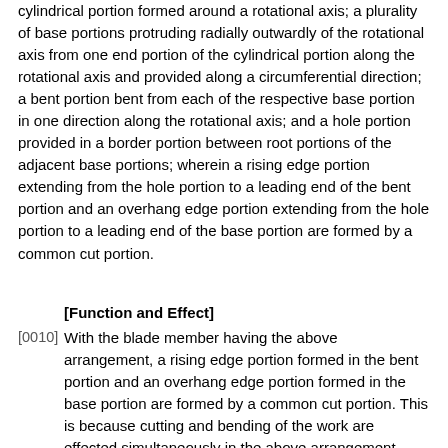cylindrical portion formed around a rotational axis; a plurality of base portions protruding radially outwardly of the rotational axis from one end portion of the cylindrical portion along the rotational axis and provided along a circumferential direction; a bent portion bent from each of the respective base portion in one direction along the rotational axis; and a hole portion provided in a border portion between root portions of the adjacent base portions; wherein a rising edge portion extending from the hole portion to a leading end of the bent portion and an overhang edge portion extending from the hole portion to a leading end of the base portion are formed by a common cut portion.
[Function and Effect]
[0010] With the blade member having the above arrangement, a rising edge portion formed in the bent portion and an overhang edge portion formed in the base portion are formed by a common cut portion. This is because cutting and bending of the work are effected simultaneously in the above arrangement. That is, in the overhang edge portion